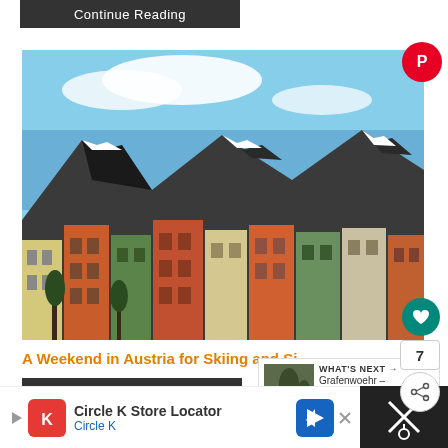Continue Reading
[Figure (photo): Colorful buildings in Innsbruck, Austria with snow-capped mountains in the background under a blue sky. Pinterest share button overlay in top right. Heart/like button and share button on the right side.]
A Weekend in Austria for Skiing and Si...
Continue Reading
WHAT'S NEXT → Grafenwoehr – Reflections...
Circle K Store Locator Circle K